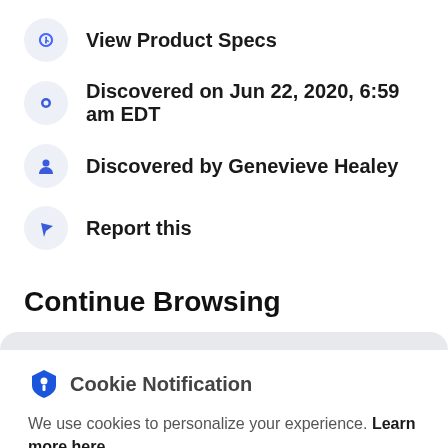View Product Specs
Discovered on Jun 22, 2020, 6:59 am EDT
Discovered by Genevieve Healey
Report this
Continue Browsing
Cookie Notification
We use cookies to personalize your experience. Learn more here.
I Don't Accept
I Accept